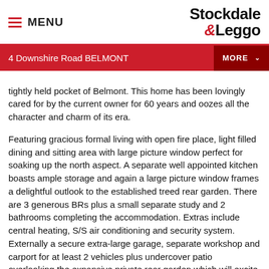MENU | Stockdale & Leggo
4 Downshire Road BELMONT
tightly held pocket of Belmont. This home has been lovingly cared for by the current owner for 60 years and oozes all the character and charm of its era. Featuring gracious formal living with open fire place, light filled dining and sitting area with large picture window perfect for soaking up the north aspect. A separate well appointed kitchen boasts ample storage and again a large picture window frames a delightful outlook to the established treed rear garden. There are 3 generous BRs plus a small separate study and 2 bathrooms completing the accommodation. Extras include central heating, S/S air conditioning and security system. Externally a secure extra-large garage, separate workshop and carport for at least 2 vehicles plus undercover patio overlooking the expansive private rear garden which will excite the fussiest of buyers. Perfectly situated only a short distance to the Highton Village shopping precinct, local schools, fantastic parks and walking tracks. This Belmont gem is an opportunity that should not be missed!